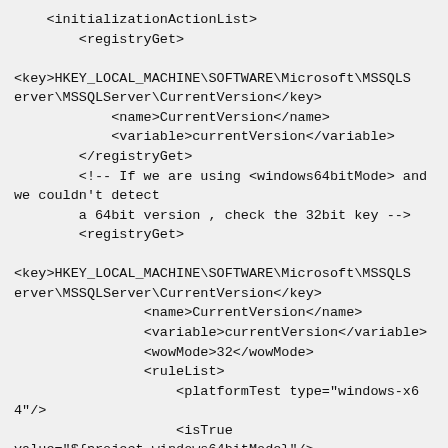<initializationActionList>
        <registryGet>

<key>HKEY_LOCAL_MACHINE\SOFTWARE\Microsoft\MSSQLServer\MSSQLServer\CurrentVersion</key>
            <name>CurrentVersion</name>
            <variable>currentVersion</variable>
        </registryGet>
        <!-- If we are using <windows64bitMode> and we couldn't detect
        a 64bit version , check the 32bit key -->
        <registryGet>

<key>HKEY_LOCAL_MACHINE\SOFTWARE\Microsoft\MSSQLServer\MSSQLServer\CurrentVersion</key>
                <name>CurrentVersion</name>
                <variable>currentVersion</variable>
                <wowMode>32</wowMode>
                <ruleList>
                    <platformTest type="windows-x64"/>
                    <isTrue
value="${project.windows64bitMode}"/>
                    <compareText text="${currentVersion}"
logic="equals" value=""/>